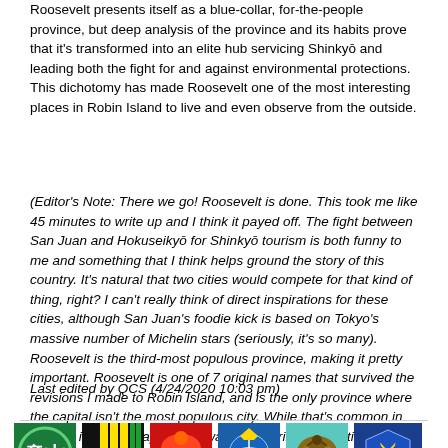Roosevelt presents itself as a blue-collar, for-the-people province, but deep analysis of the province and its habits prove that it's transformed into an elite hub servicing Shinkyō and leading both the fight for and against environmental protections. This dichotomy has made Roosevelt one of the most interesting places in Robin Island to live and even observe from the outside.
(Editor's Note: There we go! Roosevelt is done. This took me like 45 minutes to write up and I think it payed off. The fight between San Juan and Hokuseikyō for Shinkyō tourism is both funny to me and something that I think helps ground the story of this country. It's natural that two cities would compete for that kind of thing, right? I can't really think of direct inspirations for these cities, although San Juan's foodie kick is based on Tokyo's massive number of Michelin stars (seriously, it's so many). Roosevelt is the third-most populous province, making it pretty important. Roosevelt is one of 7 original names that survived the revisions I made to Robin Island, and is the only province where the capital isn't the most populous city. While that's common in the US, it's not in Japan, so I wanted to strike a realistic balance and having the capital be a small town that was selected by "chance" seemed like a good story. What do you think? Any questions? C&C welcome!)
Last edited by QCS (4/24/2020 10:03 pm)
[Figure (illustration): Row of six sports/team logos: green kanji logo, black/yellow/green stripes logo, red phoenix/bird logo, blue basketball with crown logo, teal eagle logo, blue shield with sword logo. Below is a partial banner with racing stripes and large text beginning with 'SL'.]